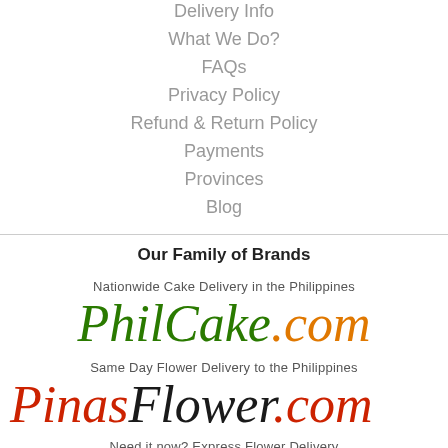Delivery Info
What We Do?
FAQs
Privacy Policy
Refund & Return Policy
Payments
Provinces
Blog
Our Family of Brands
Nationwide Cake Delivery in the Philippines
[Figure (logo): PhilCake.com logo in dark green and orange italic serif font]
Same Day Flower Delivery to the Philippines
[Figure (logo): PinasFlower.com logo in red and dark italic serif font, partially cut off]
Need it now? Express Flower Delivery